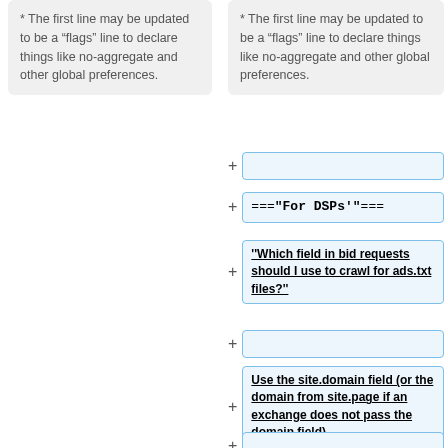* The first line may be updated to be a “flags” line to declare things like no-aggregate and other global preferences.
* The first line may be updated to be a “flags” line to declare things like no-aggregate and other global preferences.
==="""For DSPs"""===
""Which field in bid requests should I use to crawl for ads.txt files?""
Use the site.domain field (or the domain from site.page if an exchange does not pass the domain field).